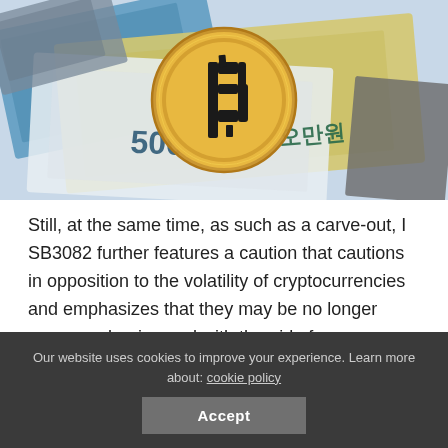[Figure (photo): A gold Bitcoin coin standing upright on top of Korean 50,000 won banknotes (오만원), with various currency bills spread out underneath.]
Still, at the same time, as such as a carve-out, I SB3082 further features a caution that cautions in opposition to the volatility of cryptocurrencies and emphasizes that they may be no longer sponsored or insured with the aid of any government or commodities.
Our website uses cookies to improve your experience. Learn more about: cookie policy  Accept